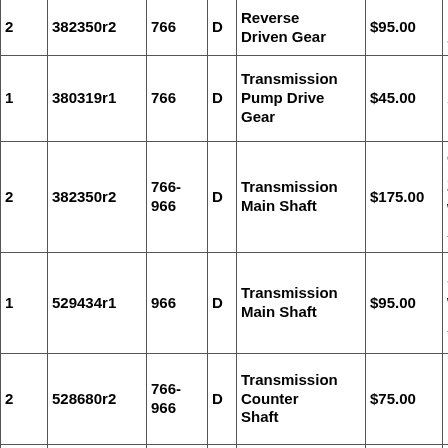| Qty | Part No. | Model | Type | Description | Price | Notes |
| --- | --- | --- | --- | --- | --- | --- |
| 2 | 382350r2 | 766-966 | D | Reverse Driven Gear | $95.00 | 15... |
| 1 | 380319r1 | 766 | D | Transmission Pump Drive Gear | $45.00 | S |
| 2 | 382350r2 | 766-966 | D | Transmission Main Shaft | $175.00 | 9... 2... w... A... |
| 1 | 529434r1 | 966 | D | Transmission Main Shaft | $95.00 | S... w... A... |
| 2 | 528680r2 | 766-966 | D | Transmission Counter Shaft | $75.00 |  |
| 2 | 380082r | 766-966 | D | Transmission Countershaft | $35.00 | T |
| 1 | 537108r12 | 766 | D | Transmission Selective Shift Handle | $30.00 |  |